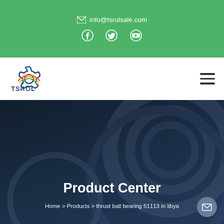✉ info@tsrolsale.com
[Figure (logo): TSROL company logo with gear icon]
Product Center
Home > Products > thrust ball bearing 51113 in libya